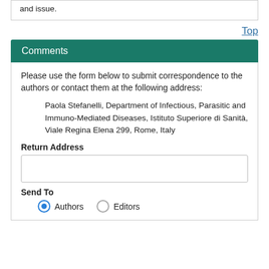and issue.
Top
Comments
Please use the form below to submit correspondence to the authors or contact them at the following address:
Paola Stefanelli, Department of Infectious, Parasitic and Immuno-Mediated Diseases, Istituto Superiore di Sanità, Viale Regina Elena 299, Rome, Italy
Return Address
Send To
Authors   Editors